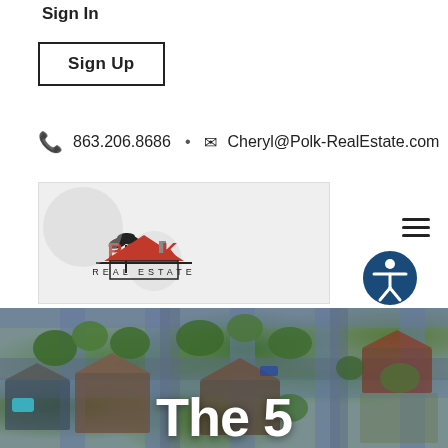Sign In
Sign Up
863.206.8686 · Cheryl@Polk-RealEstate.com
[Figure (logo): Polk Real Estate logo with palm trees and red roof graphic]
[Figure (photo): Aerial view of residential neighborhood with roads, houses, trees, and pools]
The 5